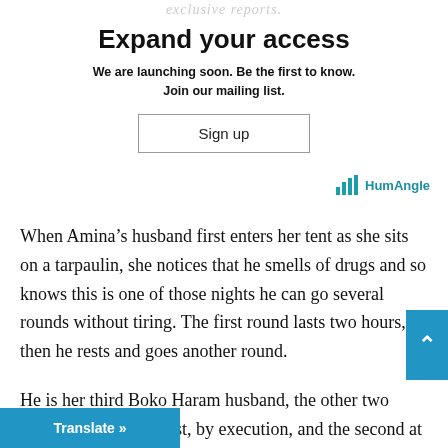exclusive reports.
Expand your access
We are launching soon. Be the first to know. Join our mailing list.
Sign up
[Figure (logo): HumAngle logo with bar chart icon in teal]
When Amina’s husband first enters her tent as she sits on a tarpaulin, she notices that he smells of drugs and so knows this is one of those nights he can go several rounds without tiring. The first round lasts two hours, then he rests and goes another round.
He is her third Boko Haram husband, the other two having died — the first, by execution, and the second at the war f… she knows the drill. It does not make it